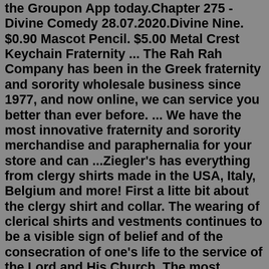the Groupon App today.Chapter 275 - Divine Comedy 28.07.2020.Divine Nine. $0.90 Mascot Pencil. $5.00 Metal Crest Keychain Fraternity ... The Rah Rah Company has been in the Greek fraternity and sorority wholesale business since 1977, and now online, we can service you better than ever before. ... We have the most innovative fraternity and sorority merchandise and paraphernalia for your store and can ...Ziegler's has everything from clergy shirts made in the USA, Italy, Belgium and more! First a litte bit about the clergy shirt and collar. The wearing of clerical shirts and vestments continues to be a visible sign of belief and of the consecration of one's life to the service of the Lord and His Church. The most common clerical shirt is that ...We have Greek paraphernalia apparels, jackets, line jackets, t shirts, hoodies, sweatshirts, license plates, paddles, umbrellas, caps, shoes, artwork, figurines, patches, mugs, face masks, ritual books and much more. Shop securely online or visit store. African Imports USA is a black owned business located in Dallas Texas since